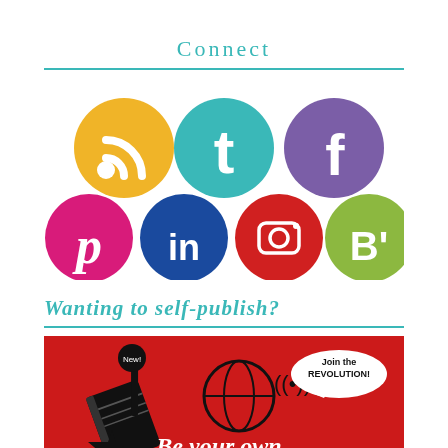Connect
[Figure (illustration): Row of colorful social media icon circles: a yellow RSS/blog icon, teal Twitter 't', purple Facebook 'f', magenta Pinterest 'p', dark blue LinkedIn 'in', red Instagram camera icon, green Bloglovin 'B'' icon.]
Wanting to self-publish?
[Figure (illustration): Red promotional banner image with black illustrated books, globe, 'Join the REVOLUTION!' speech bubble, and text 'Be your own PUBLISHER' in white and black lettering.]